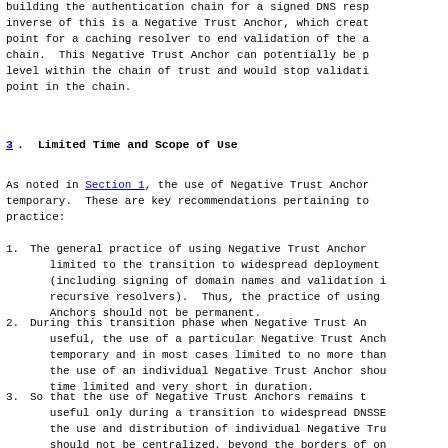building the authentication chain for a signed DNS response. The inverse of this is a Negative Trust Anchor, which creates a stopping point for a caching resolver to end validation of the authentication chain.  This Negative Trust Anchor can potentially be placed at any level within the chain of trust and would stop validation at that point in the chain.
3.  Limited Time and Scope of Use
As noted in Section 1, the use of Negative Trust Anchors should be temporary.  These are key recommendations pertaining to their use in practice:
1.  The general practice of using Negative Trust Anchors should be limited to the transition to widespread deployment of DNSSEC (including signing of domain names and validation in recursive resolvers).  Thus, the practice of using Negative Trust Anchors should not be permanent.
2.  During this transition phase when Negative Trust Anchors may be useful, the use of a particular Negative Trust Anchor should be temporary and in most cases limited to no more than a few days; the use of an individual Negative Trust Anchor should be highly time limited and very short in duration.
3.  So that the use of Negative Trust Anchors remains temporary and useful only during a transition to widespread DNSSEC deployment, the use and distribution of individual Negative Trust Anchors should not be centralized, beyond the borders of one organization's operational unit.  Thus, no organization should endeavor to create and centrally distribute Negative Trust Anchors.